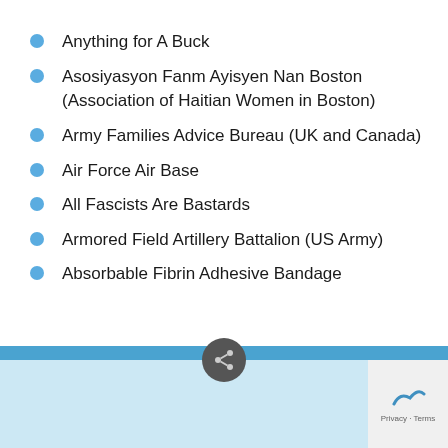Anything for A Buck
Asosiyasyon Fanm Ayisyen Nan Boston (Association of Haitian Women in Boston)
Army Families Advice Bureau (UK and Canada)
Air Force Air Base
All Fascists Are Bastards
Armored Field Artillery Battalion (US Army)
Absorbable Fibrin Adhesive Bandage